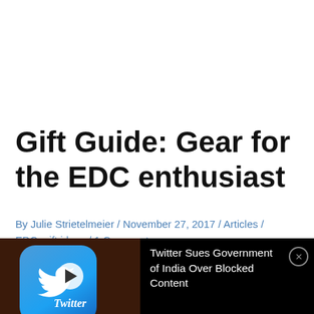Gift Guide: Gear for the EDC enthusiast
By Julie Strietelmeier / November 27, 2017 / Articles / EDC, gift ideas / 1 Comment
[Figure (screenshot): A screenshot showing a Twitter app icon with a play button overlay and a notification banner that reads 'Twitter Sues Government of India Over Blocked Content' with a close button, on a dark background.]